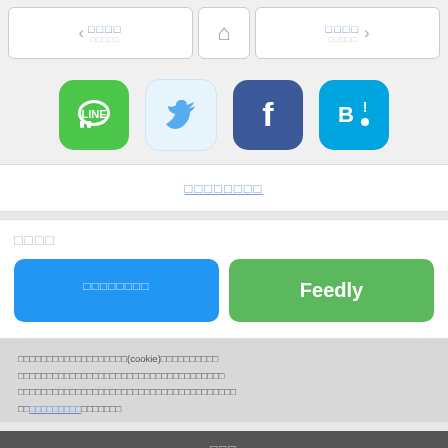[Figure (screenshot): Navigation bar with previous/home/next buttons]
[Figure (infographic): Social sharing icons: LINE, Twitter, Facebook, Hatena Bookmark]
（Japanese text - link/URL area）
（Japanese label text）
（Japanese subscribe button text）
Feedly
（Japanese cookie notice text with (cookie) mention）
（Japanese confirm button text）